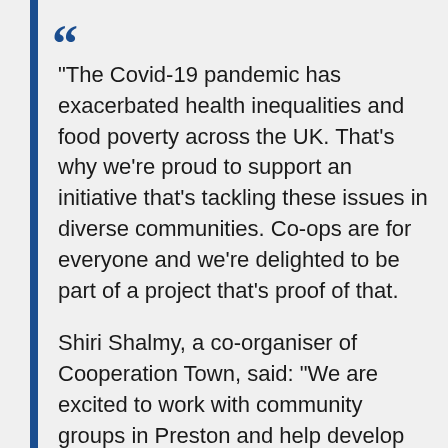"The Covid-19 pandemic has exacerbated health inequalities and food poverty across the UK. That's why we're proud to support an initiative that's tackling these issues in diverse communities. Co-ops are for everyone and we're delighted to be part of a project that's proof of that.

Shiri Shalmy, a co-organiser of Cooperation Town, said: "We are excited to work with community groups in Preston and help develop local organising around food distribution. The community food co-op model is the most affordable - and enjoyable - way to feed our families and we are keen to share it